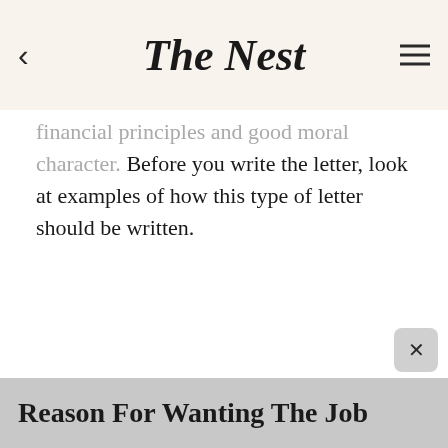The Nest
financial principles and good moral character. Before you write the letter, look at examples of how this type of letter should be written.
Reason For Wanting The Job